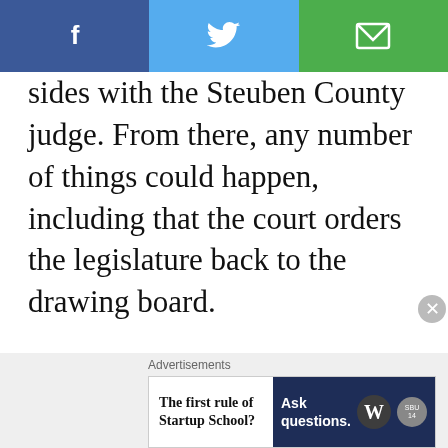[Figure (infographic): Social share bar with Facebook (blue), Twitter (light blue), and email/envelope (green) icons]
sides with the Steuben County judge. From there, any number of things could happen, including that the court orders the legislature back to the drawing board.

If that comes to pass, political boundaries would change again and the many candidates who have flooded into races since the new maps emerged — or
[Figure (infographic): Advertisement banner: 'The first rule of Startup School?' on left, 'Ask questions.' with WordPress and small logo on dark blue background on right]
Advertisements